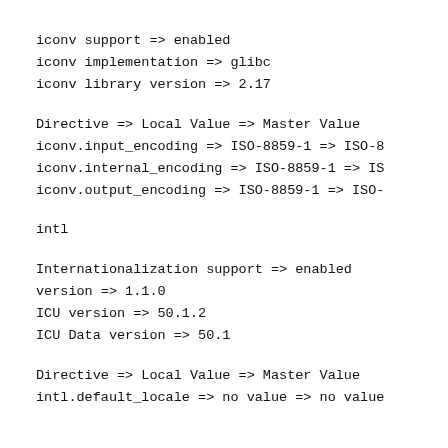iconv support => enabled
iconv implementation => glibc
iconv library version => 2.17
Directive => Local Value => Master Value
iconv.input_encoding => ISO-8859-1 => ISO-8
iconv.internal_encoding => ISO-8859-1 => IS
iconv.output_encoding => ISO-8859-1 => ISO-
intl
Internationalization support => enabled
version => 1.1.0
ICU version => 50.1.2
ICU Data version => 50.1
Directive => Local Value => Master Value
intl.default_locale => no value => no value